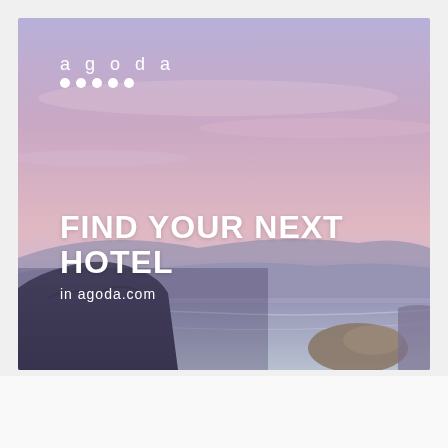[Figure (photo): Agoda advertisement banner showing a scenic coastal landscape with pink-purple sky at dusk, rocky cliffs in the foreground and calm water. White Agoda logo and dots in top-left. Large white text 'FIND YOUR NEXT HOTEL' and 'in agoda.com' at the bottom-left.]
Advertisements
[Figure (logo): Pressable advertisement banner with blue-bordered top. Text: 'ThePlatform Where WordPress Works Best' on the left, and 'Pressable' logo with dark blue P icon on the right.]